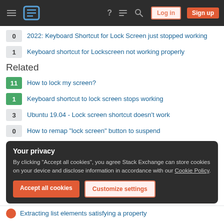Stack Exchange navigation bar with hamburger menu, logo, help, chat, search icons, Log in and Sign up buttons
0 — 2022: Keyboard Shortcut for Lock Screen just stopped working
1 — Keyboard shortcut for Lockscreen not working properly
Related
11 — How to lock my screen?
1 — Keyboard shortcut to lock screen stops working
3 — Ubuntu 19.04 - Lock screen shortcut doesn't work
0 — How to remap "lock screen" button to suspend
Your privacy
By clicking "Accept all cookies", you agree Stack Exchange can store cookies on your device and disclose information in accordance with our Cookie Policy.
Accept all cookies | Customize settings
Extracting list elements satisfying a property